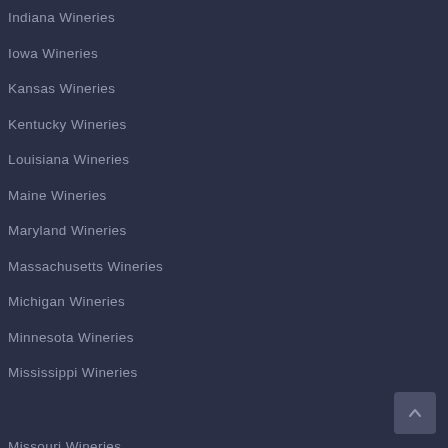Indiana Wineries
Iowa Wineries
Kansas Wineries
Kentucky Wineries
Louisiana Wineries
Maine Wineries
Maryland Wineries
Massachusetts Wineries
Michigan Wineries
Minnesota Wineries
Mississippi Wineries
Missouri Wineries
Montana Wineries
Nebraska Wineries
Nevada Wineries